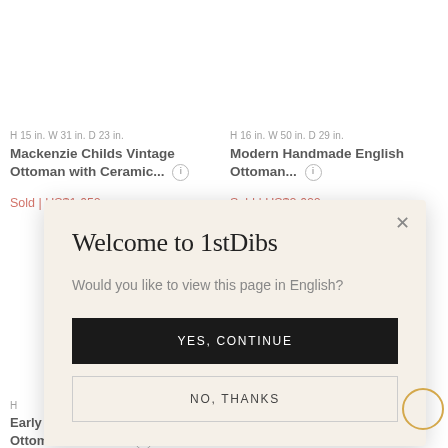[Figure (screenshot): Product listing for Mackenzie Childs Vintage Ottoman with Ceramic - showing partial product image, dimensions H 15 in. W 31 in. D 23 in., bold title, Sold price US$1,650]
H 15 in. W 31 in. D 23 in.
Mackenzie Childs Vintage Ottoman with Ceramic...
Sold | US$1,650
[Figure (screenshot): Product listing for Modern Handmade English Ottoman - showing partial product image, dimensions H 16 in. W 50 in. D 29 in., bold title, Sold price US$2,600]
H 16 in. W 50 in. D 29 in.
Modern Handmade English Ottoman...
Sold | US$2,600
Welcome to 1stDibs
Would you like to view this page in English?
YES, CONTINUE
NO, THANKS
Early 20thc Carved Feet Ottoman In 19thc...
Faux Leopard Upholstered Bench with...